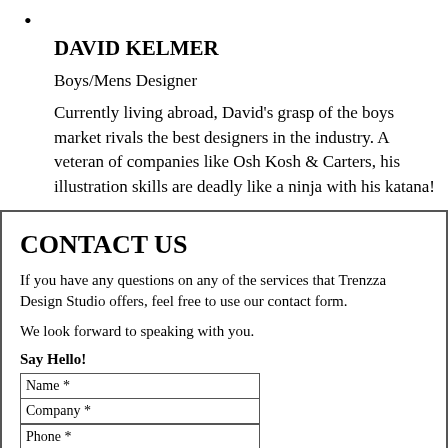•
DAVID KELMER
Boys/Mens Designer
Currently living abroad, David's grasp of the boys market rivals the best designers in the industry. A veteran of companies like Osh Kosh & Carters, his illustration skills are deadly like a ninja with his katana!
CONTACT US
If you have any questions on any of the services that Trenzza Design Studio offers, feel free to use our contact form.
We look forward to speaking with you.
Say Hello!
| Name * |
| Company * |
| Phone * |